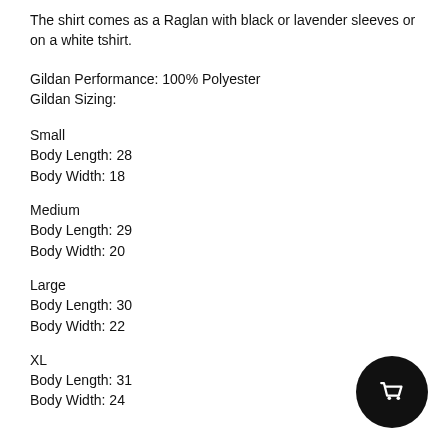The shirt comes as a Raglan with black or lavender sleeves or on a white tshirt.
Gildan Performance: 100% Polyester
Gildan Sizing:
Small
Body Length: 28
Body Width: 18
Medium
Body Length: 29
Body Width: 20
Large
Body Length: 30
Body Width: 22
XL
Body Length: 31
Body Width: 24